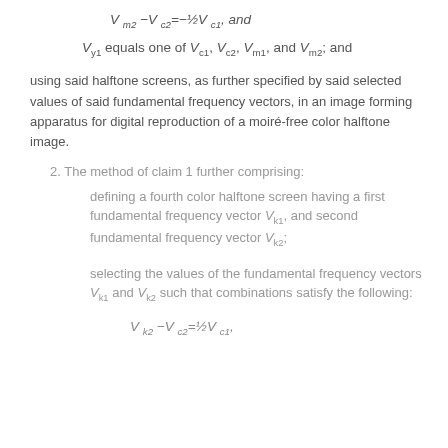using said halftone screens, as further specified by said selected values of said fundamental frequency vectors, in an image forming apparatus for digital reproduction of a moiré-free color halftone image.
2. The method of claim 1 further comprising:
defining a fourth color halftone screen having a first fundamental frequency vector Vₖ₁, and second fundamental frequency vector Vₖ₂;
selecting the values of the fundamental frequency vectors Vₖ₁ and Vₖ₂ such that combinations satisfy the following: